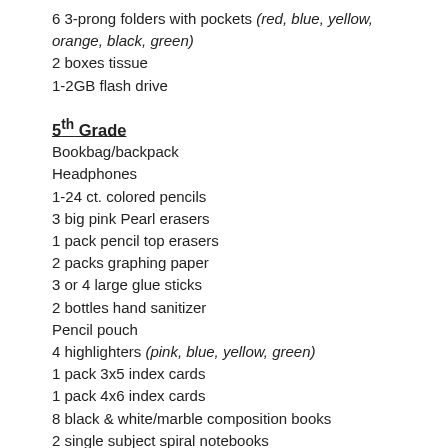6 3-prong folders with pockets (red, blue, yellow, orange, black, green)
2 boxes tissue
1-2GB flash drive
5th Grade
Bookbag/backpack
Headphones
1-24 ct. colored pencils
3 big pink Pearl erasers
1 pack pencil top erasers
2 packs graphing paper
3 or 4 large glue sticks
2 bottles hand sanitizer
Pencil pouch
4 highlighters (pink, blue, yellow, green)
1 pack 3x5 index cards
1 pack 4x6 index cards
8 black & white/marble composition books
2 single subject spiral notebooks
4 packs wide ruled notebook paper
2-1 inch notebook
2- 36 ct. packs #2 pencils
1-12 inch ruler